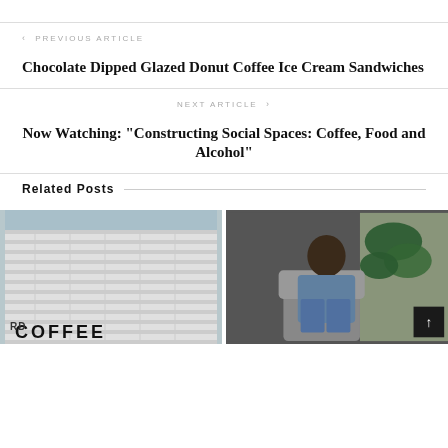< PREVIOUS ARTICLE
Chocolate Dipped Glazed Donut Coffee Ice Cream Sandwiches
NEXT ARTICLE >
Now Watching: "Constructing Social Spaces: Coffee, Food and Alcohol"
Related Posts
[Figure (photo): Exterior photo of a coffee shop with white brick wall and text reading COFFEE]
[Figure (photo): A man sitting in a cafe with plants in background, and a dark scroll-to-top button in corner]